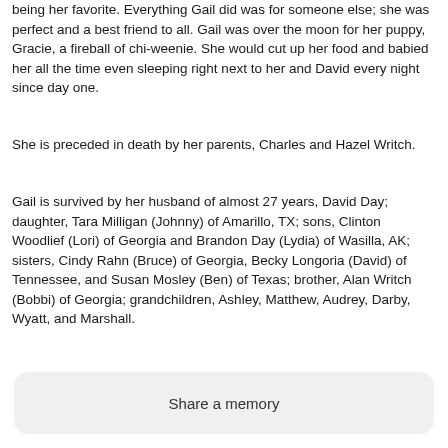being her favorite. Everything Gail did was for someone else; she was perfect and a best friend to all. Gail was over the moon for her puppy, Gracie, a fireball of chi-weenie. She would cut up her food and babied her all the time even sleeping right next to her and David every night since day one.
She is preceded in death by her parents, Charles and Hazel Writch.
Gail is survived by her husband of almost 27 years, David Day; daughter, Tara Milligan (Johnny) of Amarillo, TX; sons, Clinton Woodlief (Lori) of Georgia and Brandon Day (Lydia) of Wasilla, AK; sisters, Cindy Rahn (Bruce) of Georgia, Becky Longoria (David) of Tennessee, and Susan Mosley (Ben) of Texas; brother, Alan Writch (Bobbi) of Georgia; grandchildren, Ashley, Matthew, Audrey, Darby, Wyatt, and Marshall.
Share a memory